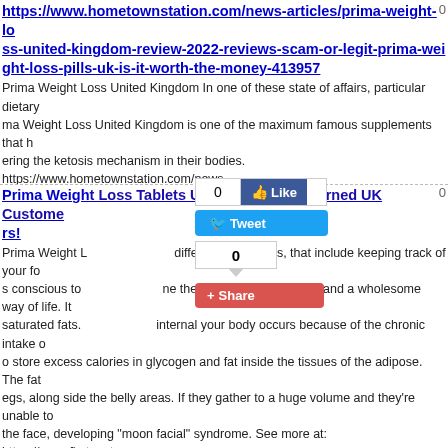https://www.hometownstation.com/news-articles/prima-weight-loss-united-kingdom-review-2022-reviews-scam-or-legit-prima-weight-loss-pills-uk-is-it-worth-the-money-413957
Prima Weight Loss United Kingdom In one of these state of affairs, particular dietary... Prima Weight Loss United Kingdom is one of the maximum famous supplements that helping the ketosis mechanism in their bodies. https://www.hometownstation.com/news... 2022-reviews-sc...rima-weight-loss-pills-uk-is-it-worth-the-money-413957 h... e-keto-gummie...views-is-it-legitimate-or-scam-official-cost-where-to-buy-... cles/gemini-ket...eviews-shark-tank-walmart-2022-amazon-price-gemini-k... et/business/20:...-weight-loss-pills-uk-reviews-proven-uk-report-is-kapse... m-Shed-Keto-G...191354611530 https://www.facebook.com/Slim-Shed-Ke
Prima Weight Loss Tablets UK Reviews; Be Warned UK Customers!
Prima Weight Loss...different techniques, that include keeping track of your fo... s conscious to...ne the weight-reduction plan and a wholesome way of life. It... saturated fats. ...internal your body occurs because of the chronic intake o... o store excess calories in glycogen and fat inside the tissues of the adipose. The fat... egs, along side the belly areas. If they gather to a huge volume and they're unable to... the face, developing "moon facial" syndrome. See more at: https://www.firstpost.com... sules-tablets-consumers-experience-10577931.html YOUTUBE>> https://youtu.be/o
Prima Weight Loss Tablets UK Reviews; Be Warned UK Customers!
Prima Weight Loss UK : start to burn fat within the liver itself. Once more, the fat ins... fat being saved within the body once more. Keto has modified the shape that has ste... ch ingredient inside a system is performed in a manner that doesn't damage the eve... ntion all over your body weight. Apparently assist burn fat in a quick and easy mann...